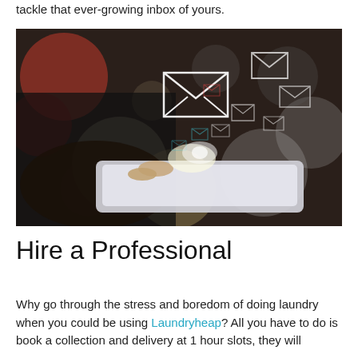tackle that ever-growing inbox of yours.
[Figure (photo): Person in dark suit holding a tablet device with glowing email envelope icons floating out of the screen against a bokeh background of colorful lights]
Hire a Professional
Why go through the stress and boredom of doing laundry when you could be using Laundryheap? All you have to do is book a collection and delivery at 1 hour slots, they will